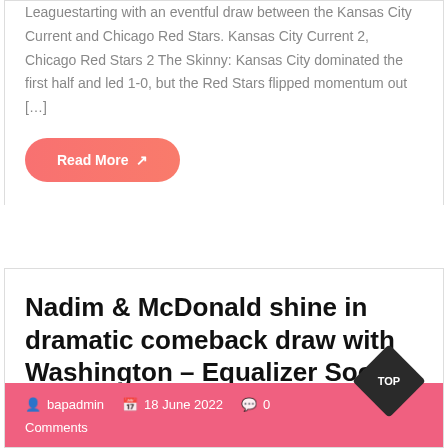Leaguestarting with an eventful draw between the Kansas City Current and Chicago Red Stars. Kansas City Current 2, Chicago Red Stars 2 The Skinny: Kansas City dominated the first half and led 1-0, but the Red Stars flipped momentum out […]
Read More ↗
Nadim & McDonald shine in dramatic comeback draw with Washington – Equalizer Soccer
bapadmin   18 June 2022   0 Comments